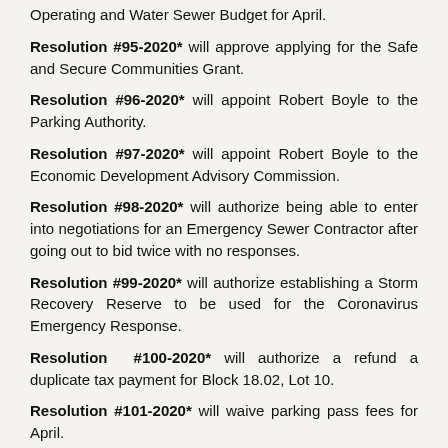Resolution #95-2020* will approve applying for the Safe and Secure Communities Grant.
Resolution #96-2020* will appoint Robert Boyle to the Parking Authority.
Resolution #97-2020* will appoint Robert Boyle to the Economic Development Advisory Commission.
Resolution #98-2020* will authorize being able to enter into negotiations for an Emergency Sewer Contractor after going out to bid twice with no responses.
Resolution #99-2020* will authorize establishing a Storm Recovery Reserve to be used for the Coronavirus Emergency Response.
Resolution #100-2020* will authorize a refund a duplicate tax payment for Block 18.02, Lot 10.
Resolution #101-2020* will waive parking pass fees for April.
Resolution #102-2020* will refund redemption monies to an outside lien holder for Block 19.01, Lot 9.